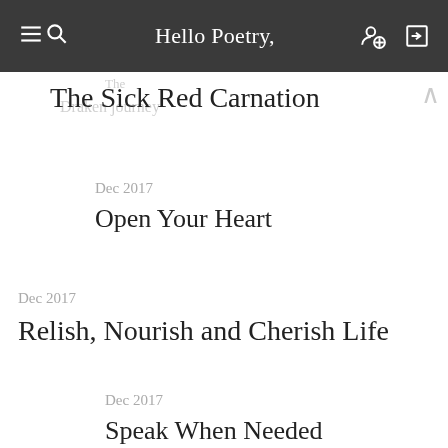Hello Poetry,
The Sick Red Carnation
Dec 2017
Open Your Heart
Dec 2017
Relish, Nourish and Cherish Life
Dec 2017
Speak When Needed